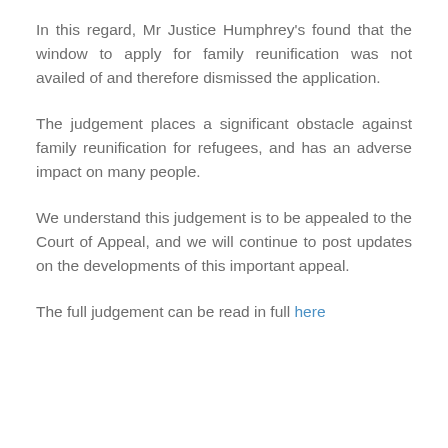In this regard, Mr Justice Humphrey's found that the window to apply for family reunification was not availed of and therefore dismissed the application.
The judgement places a significant obstacle against family reunification for refugees, and has an adverse impact on many people.
We understand this judgement is to be appealed to the Court of Appeal, and we will continue to post updates on the developments of this important appeal.
The full judgement can be read in full here